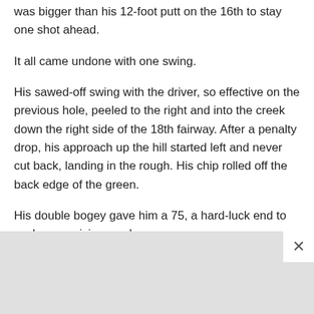was bigger than his 12-foot putt on the 16th to stay one shot ahead.
It all came undone with one swing.
His sawed-off swing with the driver, so effective on the previous hole, peeled to the right and into the creek down the right side of the 18th fairway. After a penalty drop, his approach up the hill started left and never cut back, landing in the rough. His chip rolled off the back edge of the green.
His double bogey gave him a 75, a hard-luck end to such a promising week.